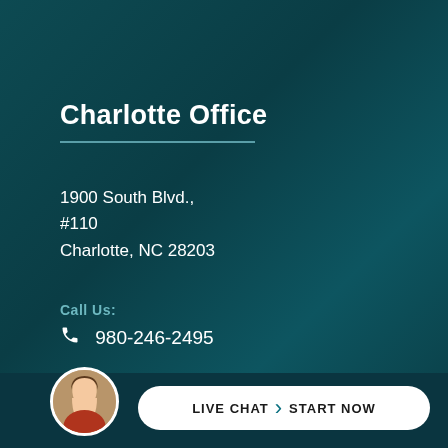Charlotte Office
1900 South Blvd.,
#110
Charlotte, NC 28203
Call Us:
980-246-2495
DIRECTIONS
hablamos Español
[Figure (other): Live chat button with female avatar photo and 'LIVE CHAT > START NOW' button at bottom of page]